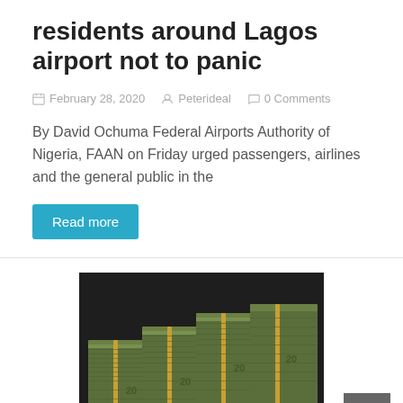residents around Lagos airport not to panic
February 28, 2020   Peterideal   0 Comments
By David Ochuma Federal Airports Authority of Nigeria, FAAN on Friday urged passengers, airlines and the general public in the
Read more
[Figure (photo): Stacks of US $20 dollar bills bundled with rubber bands, photographed on a dark background]